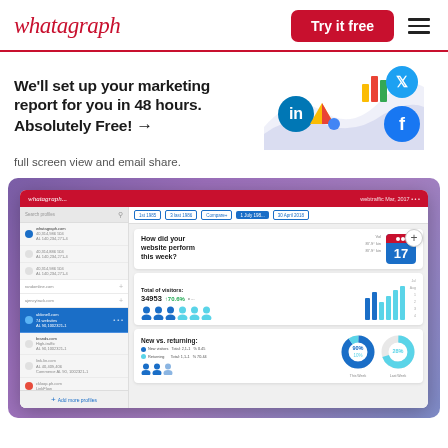whatagraph
We'll set up your marketing report for you in 48 hours. Absolutely Free! →
full screen view and email share.
[Figure (screenshot): Screenshot of the Whatagraph web application dashboard showing a sidebar with multiple site profiles, tab navigation, and a marketing performance report with visitor statistics, bar charts, and donut charts for new vs. returning visitors.]